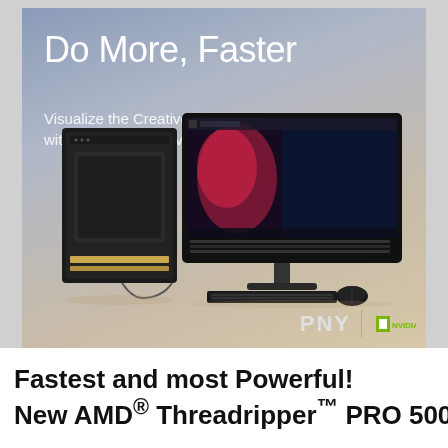[Figure (photo): Advertisement image showing a PNY workstation PC tower and large monitor displaying 3D rendering software, with keyboard and mouse. Blue-grey to warm beige gradient background. Text overlay: 'Do More, Faster' and 'Visualize the Creative Future with the Power of NVIDIA RTX'. PNY and NVIDIA logos in bottom right.]
Fastest and most Powerful!
New AMD® Threadripper™ PRO 5000